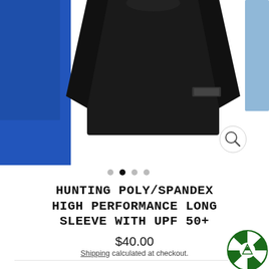[Figure (photo): Product photo showing a black long-sleeve performance shirt in the center, with a blue shirt visible on the left edge and a light blue shirt on the right edge. A magnifying glass zoom icon is visible in the lower right of the image area.]
• • (filled) • •
HUNTING POLY/SPANDEX HIGH PERFORMANCE LONG SLEEVE WITH UPF 50+
$40.00
Shipping calculated at checkout.
SIZE — Size chart
S  M  L  XL  XXL  XXXL